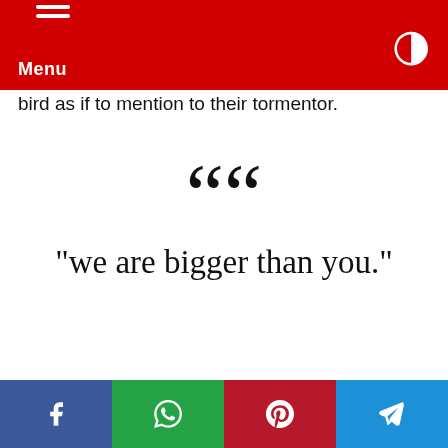Menu
bird as if to mention to their tormentor.
“we are bigger than you.”
Social share bar: Facebook, WhatsApp, Pinterest, Telegram